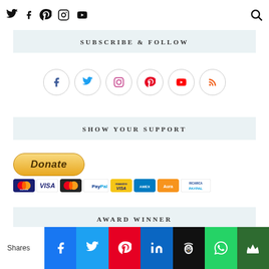Social media navigation icons and search
SUBSCRIBE & FOLLOW
[Figure (illustration): Six circular social media icons: Facebook, Twitter, Instagram, Pinterest, YouTube, RSS]
SHOW YOUR SUPPORT
[Figure (illustration): PayPal Donate button with payment method icons below: Maestro, Visa, MasterCard, PayPal, Maestro Visa, American Express, Aura, Ricarica PayPal]
AWARD WINNER
Shares — social share buttons: Facebook, Twitter, Pinterest, LinkedIn, Owly, WhatsApp, Crown